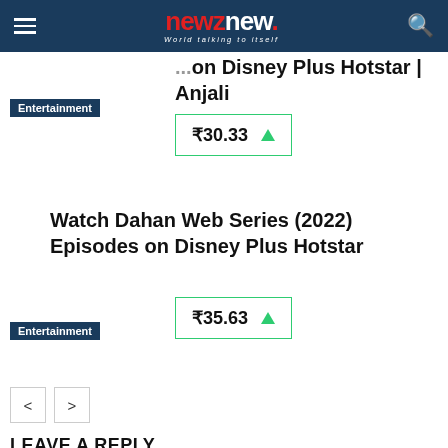newznew. World talking to itself
...on Disney Plus Hotstar | Anjali
Entertainment
₹30.33 ▲
Watch Dahan Web Series (2022) Episodes on Disney Plus Hotstar
Entertainment
₹35.63 ▲
< >
LEAVE A REPLY
Comment: